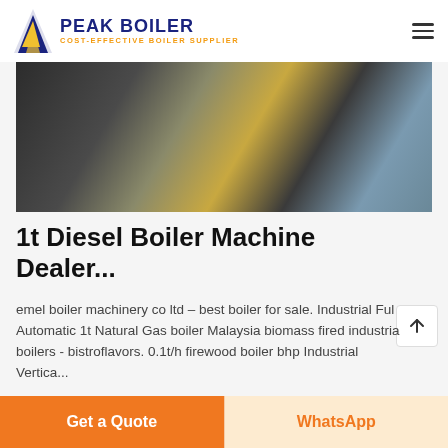PEAK BOILER - COST-EFFECTIVE BOILER SUPPLIER
[Figure (photo): Industrial boiler equipment with large cylindrical tank, metal scaffolding/stairs, yellow pipes and fittings, corrugated metal building in background]
1t Diesel Boiler Machine Dealer...
emel boiler machinery co ltd – best boiler for sale. Industrial Fully Automatic 1t Natural Gas boiler Malaysia biomass fired industrial boilers - bistroflavors. 0.1t/h firewood boiler bhp Industrial Vertica...
[Figure (photo): Industrial boiler equipment close-up with tanks, pipes and yellow fittings]